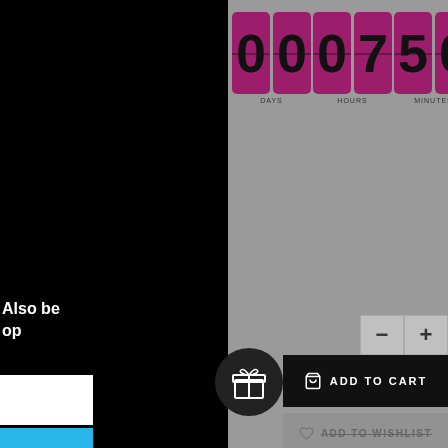[Figure (screenshot): Countdown timer showing digits 00, 07, 50, 58 for DAYS, HOURS, MINUTES, SECONDS on pink/maroon digit tiles against a gray background]
Also be
op
ADD TO CART
ADD TO WISHLIST
cookies to ensure that we give you the best
ce on our website. Please read and accept our
licy, and policy on cookies to give you the be
NOGU
20%OFF Your First App Order
VIEW
ky  X